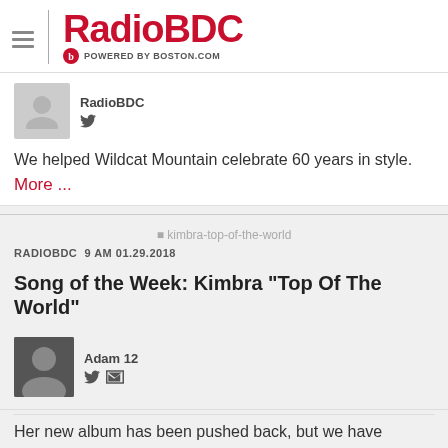RadioBDC POWERED BY BOSTON.COM
RadioBDC
We helped Wildcat Mountain celebrate 60 years in style. More ...
[Figure (photo): Broken image placeholder labeled kimbra-top-of-the-world]
RADIOBDC  9 AM 01.29.2018
Song of the Week: Kimbra "Top Of The World"
Adam 12
Her new album has been pushed back, but we have